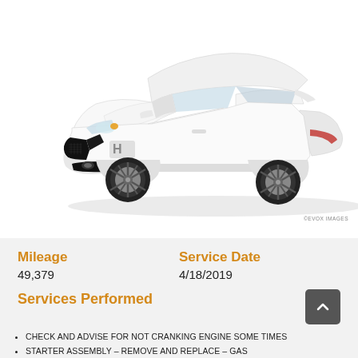[Figure (photo): White Honda Accord coupe, front three-quarter view on white background. ©EVOX IMAGES watermark at bottom right.]
©EVOX IMAGES
Mileage
49,379
Service Date
4/18/2019
Services Performed
CHECK AND ADVISE FOR NOT CRANKING ENGINE SOME TIMES
STARTER ASSEMBLY – Remove and Replace – Gas